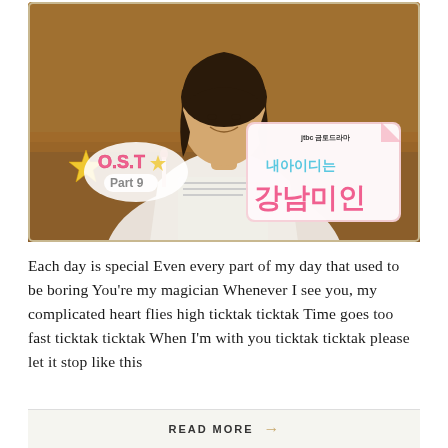[Figure (photo): Korean drama promotional image for 'My ID is Gangnam Beauty' (JTBC). A smiling woman with short dark hair wearing a white blouse sits at a table. Overlay logos show 'O.S.T Part 9' in pink bubble letters with stars, and Korean text reading '내 아이디는 강남미인' in pink and blue on a decorative card.]
Each day is special Even every part of my day that used to be boring You're my magician Whenever I see you, my complicated heart flies high ticktak ticktak Time goes too fast ticktak ticktak When I'm with you ticktak ticktak please let it stop like this
READ MORE →